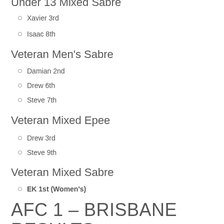Under 13 Mixed Sabre
Xavier 3rd
Isaac 8th
Veteran Men's Sabre
Damian 2nd
Drew 6th
Steve 7th
Veteran Mixed Epee
Drew 3rd
Steve 9th
Veteran Mixed Sabre
EK 1st (Women's)
AFC 1 – BRISBANE RESULTS